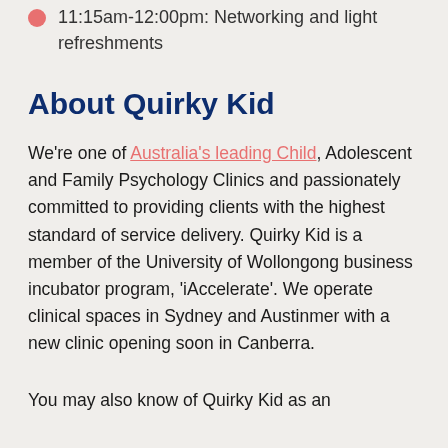11:15am-12:00pm: Networking and light refreshments
About Quirky Kid
We're one of Australia's leading Child, Adolescent and Family Psychology Clinics and passionately committed to providing clients with the highest standard of service delivery. Quirky Kid is a member of the University of Wollongong business incubator program, 'iAccelerate'. We operate clinical spaces in Sydney and Austinmer with a new clinic opening soon in Canberra.
You may also know of Quirky Kid as an